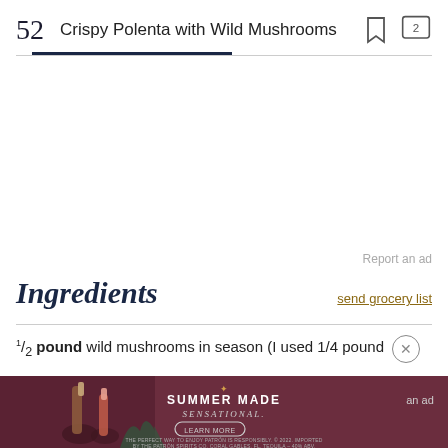52  Crispy Polenta with Wild Mushrooms
Report an ad
Ingredients
send grocery list
1/2 pound wild mushrooms in season (I used 1/4 pound
[Figure (photo): Summer Made Sensational advertisement banner featuring Patron tequila bottles]